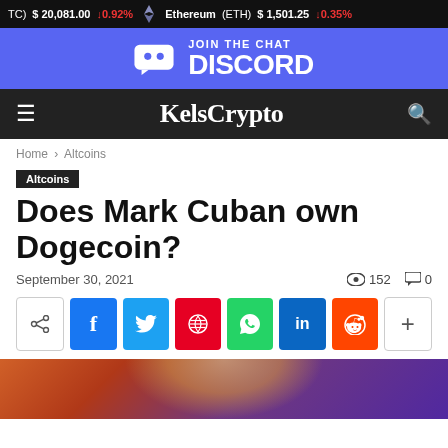(TC) $20,081.00 ↓0.92% Ethereum (ETH) $1,501.25 ↓0.35%
[Figure (screenshot): Discord banner with 'JOIN THE CHAT DISCORD' text on purple background]
KelsCrypto
Home › Altcoins
Altcoins
Does Mark Cuban own Dogecoin?
September 30, 2021  👁 152  💬 0
[Figure (photo): Hero image of a person, partially visible, with colorful background]